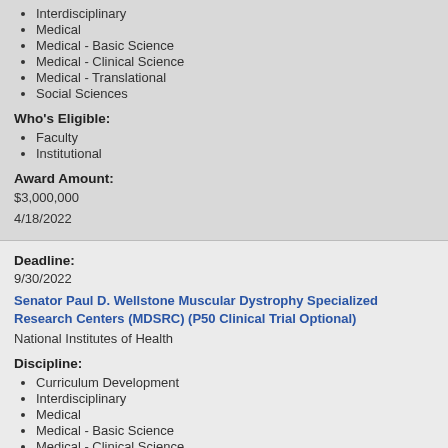Interdisciplinary
Medical
Medical - Basic Science
Medical - Clinical Science
Medical - Translational
Social Sciences
Who's Eligible:
Faculty
Institutional
Award Amount:
$3,000,000
4/18/2022
Deadline:
9/30/2022
Senator Paul D. Wellstone Muscular Dystrophy Specialized Research Centers (MDSRC) (P50 Clinical Trial Optional)
National Institutes of Health
Discipline:
Curriculum Development
Interdisciplinary
Medical
Medical - Basic Science
Medical - Clinical Science